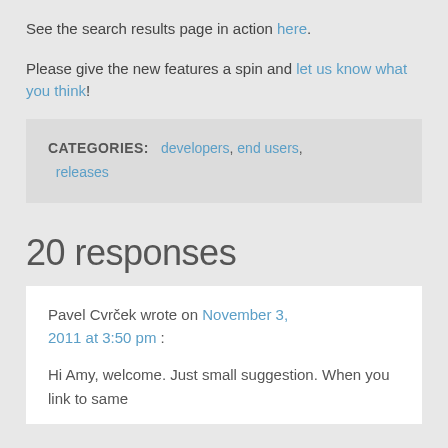See the search results page in action here.
Please give the new features a spin and let us know what you think!
CATEGORIES: developers, end users, releases
20 responses
Pavel Cvrček wrote on November 3, 2011 at 3:50 pm :
Hi Amy, welcome. Just small suggestion. When you link to same